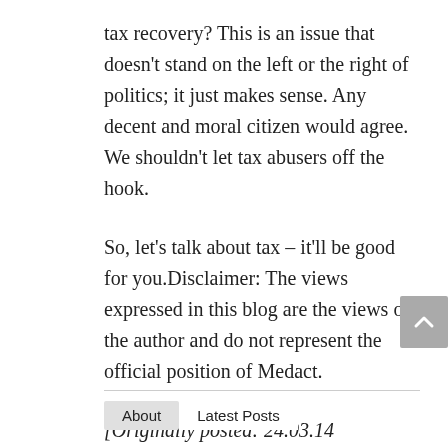tax recovery? This is an issue that doesn't stand on the left or the right of politics; it just makes sense. Any decent and moral citizen would agree. We shouldn't let tax abusers off the hook.
So, let's talk about tax – it'll be good for you.Disclaimer: The views expressed in this blog are the views of the author and do not represent the official position of Medact.
[Originally posted: 24.03.14
on opendemocracy.net]
About   Latest Posts